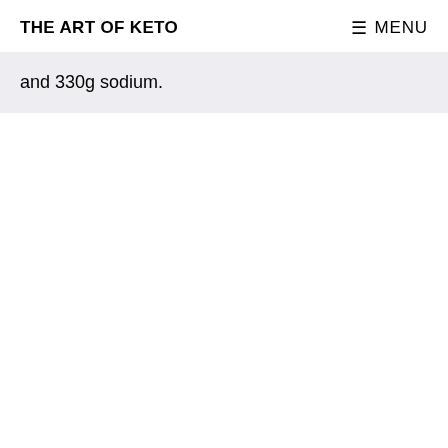THE ART OF KETO
≡ MENU
and 330g sodium.